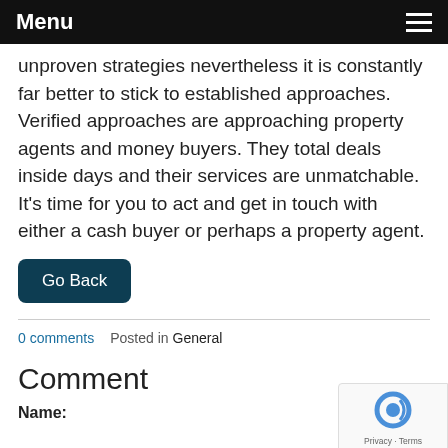Menu
unproven strategies nevertheless it is constantly far better to stick to established approaches. Verified approaches are approaching property agents and money buyers. They total deals inside days and their services are unmatchable. It's time for you to act and get in touch with either a cash buyer or perhaps a property agent.
Go Back
0 comments   Posted in General
Comment
Name: